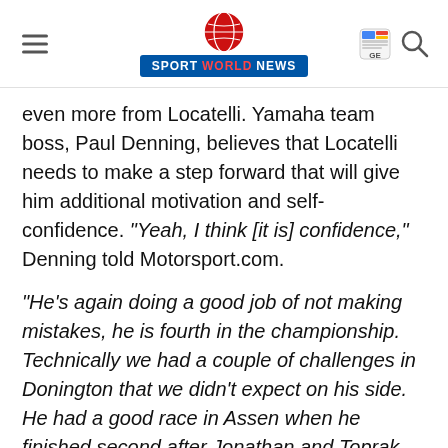SPORT WORLD NEWS
even more from Locatelli. Yamaha team boss, Paul Denning, believes that Locatelli needs to make a step forward that will give him additional motivation and self-confidence. “Yeah, I think [it is] confidence,” Denning told Motorsport.com.
“He’s again doing a good job of not making mistakes, he is fourth in the championship. Technically we had a couple of challenges in Donington that we didn’t expect on his side. He had a good race in Assen when he finished second after Jonathan and Toprak crashed into each other.